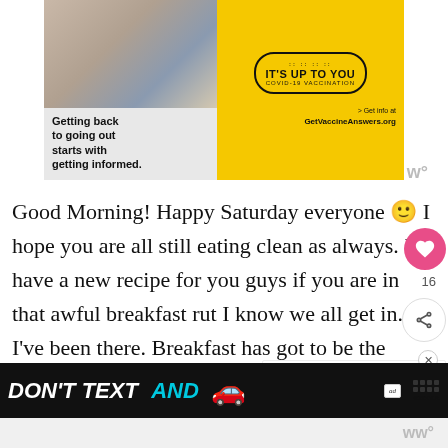[Figure (infographic): COVID-19 vaccination advertisement: 'Getting back to going out starts with getting informed.' with yellow background and 'IT'S UP TO YOU COVID-19 VACCINATION' badge, and 'Get info at GetVaccineAnswers.org']
Good Morning! Happy Saturday everyone 🙂 I hope you are all still eating clean as always. I have a new recipe for you guys if you are in that awful breakfast rut I know we all get in. I've been there. Breakfast has got to be the hardest meal to figure out what to eat. For me.
[Figure (infographic): Bottom advertisement: DON'T TEXT AND [car emoji] — NHTSA]